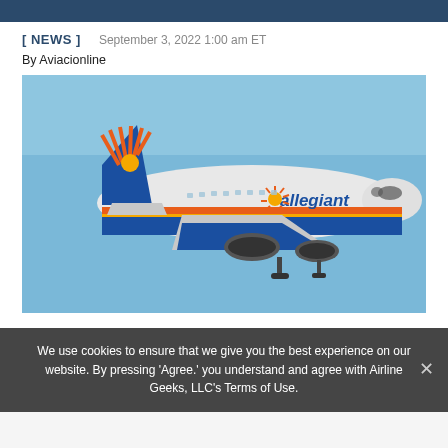[ NEWS ]   September 3, 2022 1:00 am ET
By Aviacionline
[Figure (photo): Allegiant Air Airbus A320 aircraft in flight against a blue sky, showing the airline's distinctive blue, orange, and yellow livery with the Allegiant logo on the fuselage and sun design on the tail.]
We use cookies to ensure that we give you the best experience on our website. By pressing 'Agree.' you understand and agree with Airline Geeks, LLC's Terms of Use.